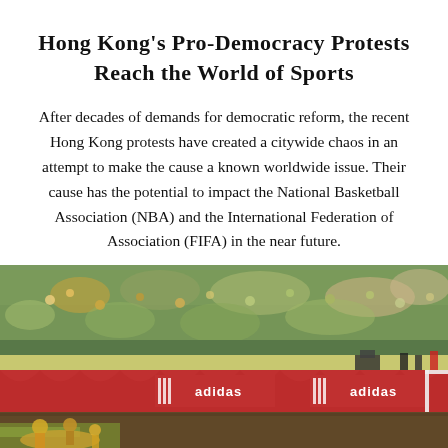Hong Kong's Pro-Democracy Protests Reach the World of Sports
After decades of demands for democratic reform, the recent Hong Kong protests have created a citywide chaos in an attempt to make the cause a known worldwide issue. Their cause has the potential to impact the National Basketball Association (NBA) and the International Federation of Association (FIFA) in the near future.
By ARoberson
[Figure (photo): Soccer stadium scene with spectators in green stands, red advertising banners with Adidas logos along the sideline, a soccer goal visible at the right edge, and players/officials on the field.]